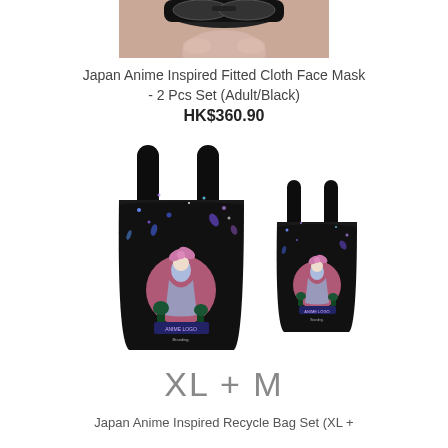[Figure (photo): Cropped photo of a person's lower face wearing a black anime-styled face mask with sunglasses on top of head]
Japan Anime Inspired Fitted Cloth Face Mask - 2 Pcs Set (Adult/Black)
HK$360.90
[Figure (photo): Two black tote bags with anime character design (XL and M sizes). The bags are black with colorful anime girl print and sparkle design on them, shown side by side with the XL bag on the left larger than the M bag on the right.]
XL + M
Japan Anime Inspired Recycle Bag Set (XL +